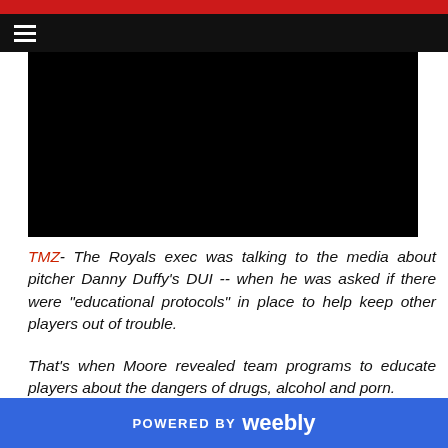[Figure (screenshot): Black video player area embedded in webpage]
TMZ- The Royals exec was talking to the media about pitcher Danny Duffy’s DUI -- when he was asked if there were “educational protocols” in place to help keep other players out of trouble.
That's when Moore revealed team programs to educate players about the dangers of drugs, alcohol and porn.
POWERED BY weebly